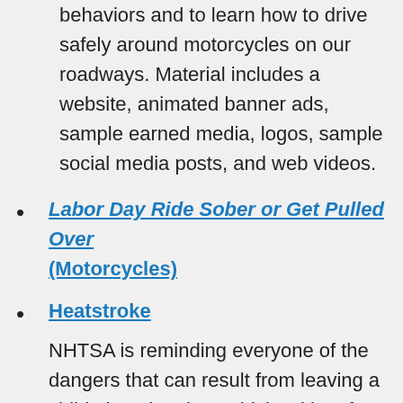behaviors and to learn how to drive safely around motorcycles on our roadways. Material includes a website, animated banner ads, sample earned media, logos, sample social media posts, and web videos.
Labor Day Ride Sober or Get Pulled Over (Motorcycles)
Heatstroke
NHTSA is reminding everyone of the dangers that can result from leaving a child alone in a hot vehicle with safety tips throughout the summer months. Child heatstroke is 100-percent preventable. Always look before you lock.
Child Passenger Safety Week Earned and Social Media
Teen Driver Safety Week Earned and Social Media